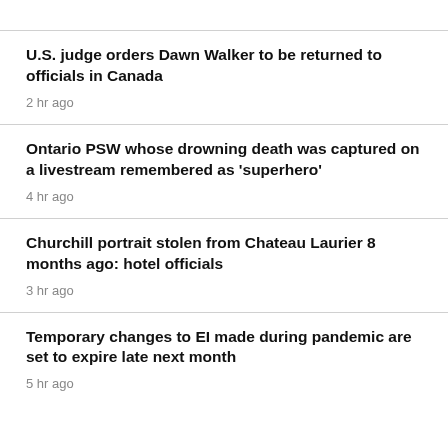U.S. judge orders Dawn Walker to be returned to officials in Canada
2 hr ago
Ontario PSW whose drowning death was captured on a livestream remembered as 'superhero'
4 hr ago
Churchill portrait stolen from Chateau Laurier 8 months ago: hotel officials
3 hr ago
Temporary changes to EI made during pandemic are set to expire late next month
5 hr ago